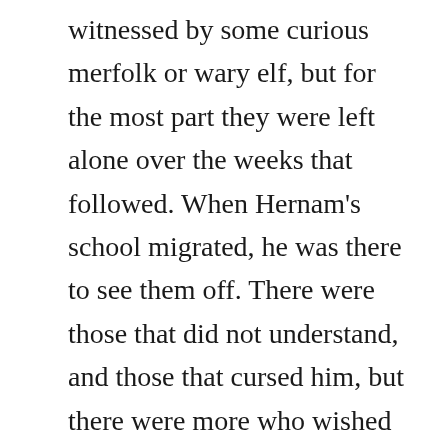witnessed by some curious merfolk or wary elf, but for the most part they were left alone over the weeks that followed. When Hernam's school migrated, he was there to see them off. There were those that did not understand, and those that cursed him, but there were more who wished him well, and more who would miss him. Shallah threw herself into her studies. She changed, though never into someone who Hernam did not love. But her invention was what she spent all her energy on. When she needed to rest was when they